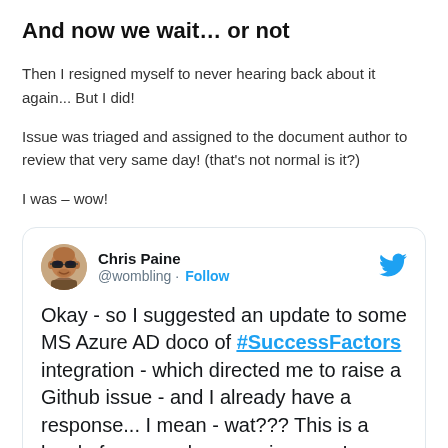And now we wait… or not
Then I resigned myself to never hearing back about it again... But I did!
Issue was triaged and assigned to the document author to review that very same day! (that's not normal is it?)
I was – wow!
[Figure (screenshot): Tweet by Chris Paine (@wombling) with Follow button and Twitter bird icon. Tweet text: Okay - so I suggested an update to some MS Azure AD doco of #SuccessFactors integration - which directed me to raise a Github issue - and I already have a response... I mean - wat??? This is a level of ease and responsiveness I am]